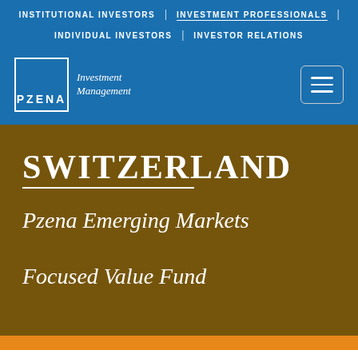INSTITUTIONAL INVESTORS | INVESTMENT PROFESSIONALS | INDIVIDUAL INVESTORS | INVESTOR RELATIONS
[Figure (logo): Pzena Investment Management logo — white square border with PZENA text and Investment Management italic text beside it]
SWITZERLAND
Pzena Emerging Markets Focused Value Fund